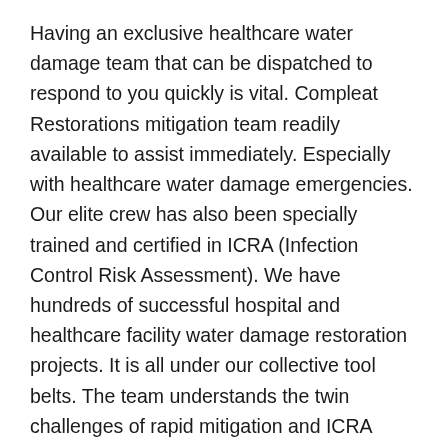Having an exclusive healthcare water damage team that can be dispatched to respond to you quickly is vital. Compleat Restorations mitigation team readily available to assist immediately. Especially with healthcare water damage emergencies. Our elite crew has also been specially trained and certified in ICRA (Infection Control Risk Assessment). We have hundreds of successful hospital and healthcare facility water damage restoration projects. It is all under our collective tool belts. The team understands the twin challenges of rapid mitigation and ICRA protocol compliance.
Infection Control Precautions – The Red Tape
Commercial water damage brings the obvious